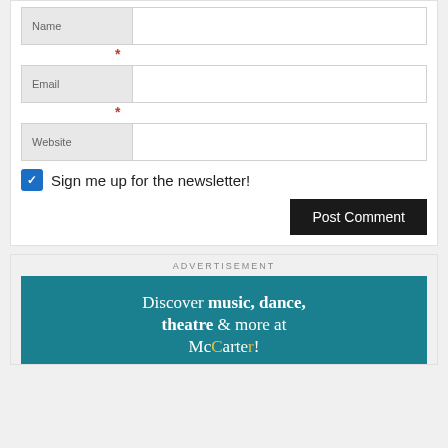Name
*
Email
*
Website
Sign me up for the newsletter!
Post Comment
ADVERTISEMENT
Discover music, dance, theatre & more at McCarter!